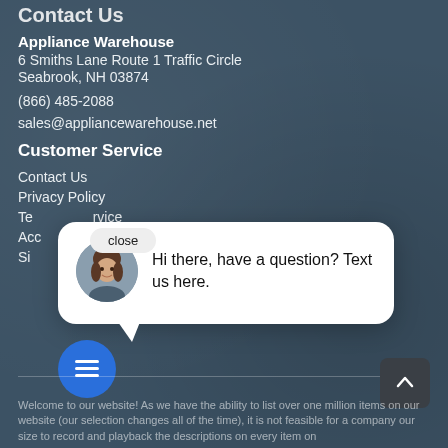Contact Us
Appliance Warehouse
6 Smiths Lane Route 1 Traffic Circle
Seabrook, NH 03874
(866) 485-2088
sales@appliancewarehouse.net
Customer Service
Contact Us
Privacy Policy
Terms of Service
Accessibility
Sitemap
[Figure (screenshot): Chat widget popup with a female avatar photo and the message 'Hi there, have a question? Text us here.' with a close button and a blue chat circle button at bottom left.]
Welcome to our website! As we have the ability to list over one million items on our website (our selection changes all of the time), it is not feasible for a company our size to record and playback the descriptions on every item on